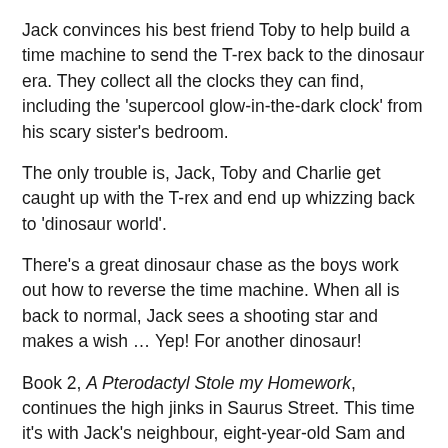Jack convinces his best friend Toby to help build a time machine to send the T-rex back to the dinosaur era. They collect all the clocks they can find, including the 'supercool glow-in-the-dark clock' from his scary sister's bedroom.
The only trouble is, Jack, Toby and Charlie get caught up with the T-rex and end up whizzing back to 'dinosaur world'.
There's a great dinosaur chase as the boys work out how to reverse the time machine. When all is back to normal, Jack sees a shooting star and makes a wish … Yep! For another dinosaur!
Book 2, A Pterodactyl Stole my Homework, continues the high jinks in Saurus Street. This time it's with Jack's neighbour, eight-year-old Sam and his older brother, Nathan. Together they're known as 'Team Dinosaur' because they 'build dinosaurs, draw dinosaurs and play dinosaurs.'
Sam's homework keeps getting stolen and his teacher, Miss Potts with 'twisted yellow teeth' has given him an ultimatum. Tomorrow … or else! Trouble is, a pterodactyl has flown into